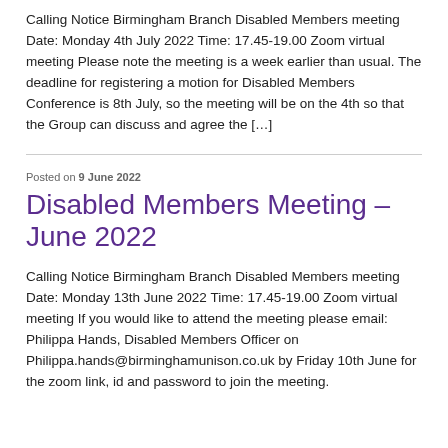Calling Notice Birmingham Branch Disabled Members meeting Date: Monday 4th July 2022 Time: 17.45-19.00 Zoom virtual meeting Please note the meeting is a week earlier than usual. The deadline for registering a motion for Disabled Members Conference is 8th July, so the meeting will be on the 4th so that the Group can discuss and agree the […]
Posted on 9 June 2022
Disabled Members Meeting – June 2022
Calling Notice Birmingham Branch Disabled Members meeting Date: Monday 13th June 2022 Time: 17.45-19.00 Zoom virtual meeting If you would like to attend the meeting please email: Philippa Hands, Disabled Members Officer on Philippa.hands@birminghamunison.co.uk by Friday 10th June for the zoom link, id and password to join the meeting.